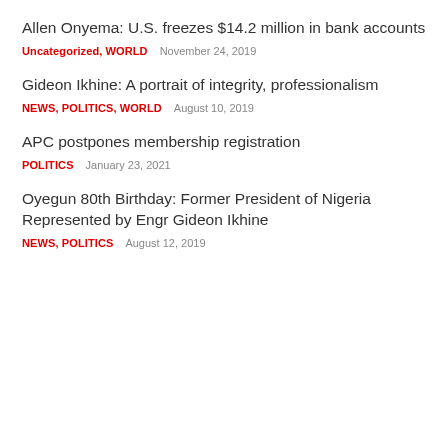Allen Onyema: U.S. freezes $14.2 million in bank accounts
Uncategorized, WORLD   November 24, 2019
Gideon Ikhine: A portrait of integrity, professionalism
NEWS, POLITICS, WORLD   August 10, 2019
APC postpones membership registration
POLITICS   January 23, 2021
Oyegun 80th Birthday: Former President of Nigeria Represented by Engr Gideon Ikhine
NEWS, POLITICS   August 12, 2019